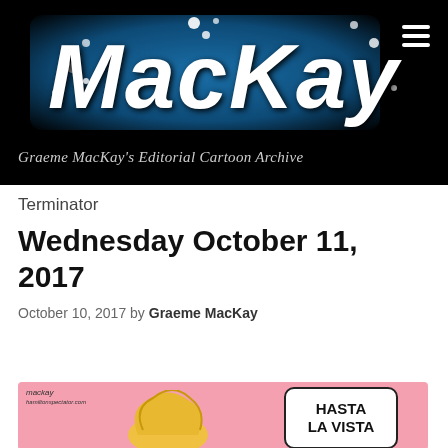[Figure (logo): MacKay editorial cartoon archive logo: white stylized text 'MacKay' with dots on black background with blue radial gradient behind text]
Graeme MacKay's Editorial Cartoon Archive
Terminator
Wednesday October 11, 2017
October 10, 2017 by Graeme MacKay
[Figure (illustration): Editorial cartoon showing Trump hair on pink background with speech bubble saying 'HASTA LA VISTA']